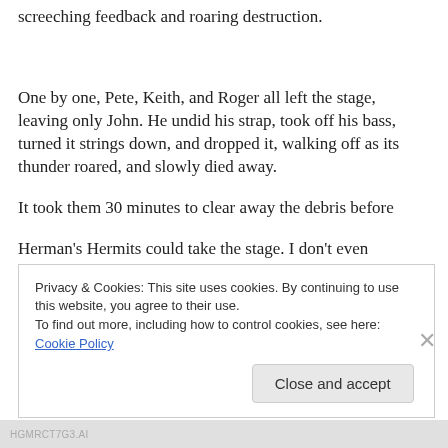screeching feedback and roaring destruction.
One by one, Pete, Keith, and Roger all left the stage, leaving only John. He undid his strap, took off his bass, turned it strings down, and dropped it, walking off as its thunder roared, and slowly died away.
It took them 30 minutes to clear away the debris before Herman's Hermits could take the stage. I don't even
Privacy & Cookies: This site uses cookies. By continuing to use this website, you agree to their use.
To find out more, including how to control cookies, see here: Cookie Policy
Close and accept